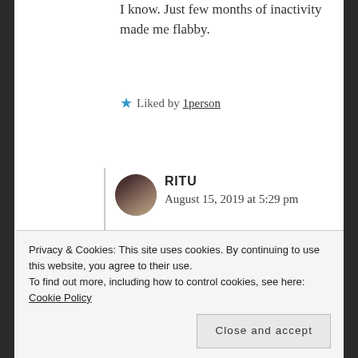I know. Just few months of inactivity made me flabby.
★ Liked by 1person
RITU
August 15, 2019 at 5:29 pm
It's a vicious circle this weight on/off thing!
Privacy & Cookies: This site uses cookies. By continuing to use this website, you agree to their use.
To find out more, including how to control cookies, see here: Cookie Policy
Close and accept